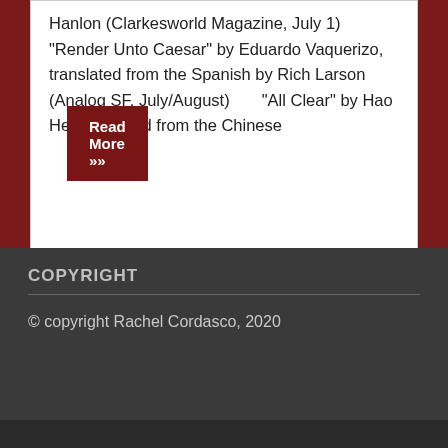Hanlon (Clarkesworld Magazine, July 1) "Render Unto Caesar" by Eduardo Vaquerizo, translated from the Spanish by Rich Larson (Analog SF, July/August)     "All Clear" by Hao He, translated from the Chinese
Read More »
COPYRIGHT
© copyright Rachel Cordasco, 2020